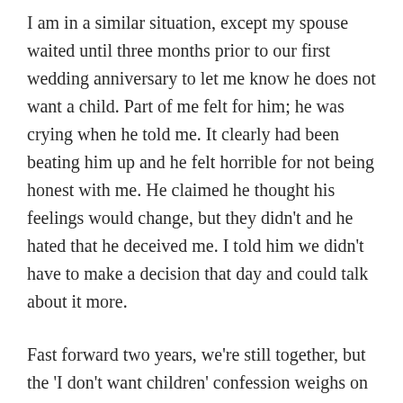I am in a similar situation, except my spouse waited until three months prior to our first wedding anniversary to let me know he does not want a child. Part of me felt for him; he was crying when he told me. It clearly had been beating him up and he felt horrible for not being honest with me. He claimed he thought his feelings would change, but they didn't and he hated that he deceived me. I told him we didn't have to make a decision that day and could talk about it more.
Fast forward two years, we're still together, but the 'I don't want children' confession weighs on me daily and I haven't gotten the courage to talk to